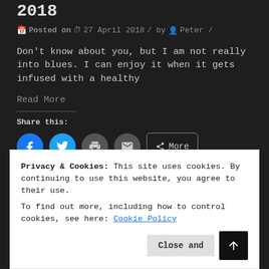2018
Posted on  27 April 2018 / by  Peter /
Don't know about you, but I am not really into blues. I can enjoy it when it gets infused with a healthy
Read More
Share this:
[Figure (other): Social share buttons: Facebook, Twitter, Print, Email, More]
Like this:
Privacy & Cookies: This site uses cookies. By continuing to use this website, you agree to their use.
To find out more, including how to control cookies, see here: Cookie Policy